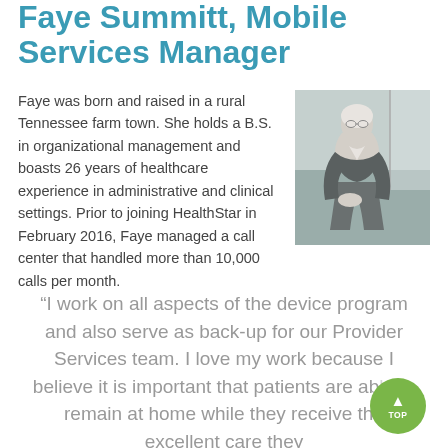Faye Summitt, Mobile Services Manager
[Figure (photo): Black and white photograph of Faye Summitt, an older woman with short light hair, wearing a blazer, seated outdoors.]
Faye was born and raised in a rural Tennessee farm town. She holds a B.S. in organizational management and boasts 26 years of healthcare experience in administrative and clinical settings. Prior to joining HealthStar in February 2016, Faye managed a call center that handled more than 10,000 calls per month.
“I work on all aspects of the device program and also serve as back-up for our Provider Services team. I love my work because I believe it is important that patients are able to remain at home while they receive the excellent care they